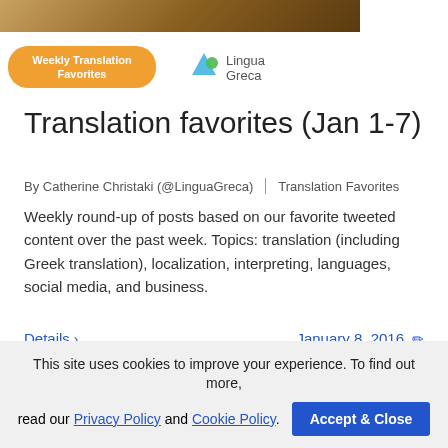[Figure (photo): Header image showing a book/text background with a Weekly Translation Favorites badge and LinguaGreca logo]
Translation favorites (Jan 1-7)
By Catherine Christaki (@LinguaGreca) | Translation Favorites
Weekly round-up of posts based on our favorite tweeted content over the past week. Topics: translation (including Greek translation), localization, interpreting, languages, social media, and business.
Details > January 8, 2016 ✎
1 2 3 4 5 ... 13
This site uses cookies to improve your experience. To find out more, read our Privacy Policy and Cookie Policy.